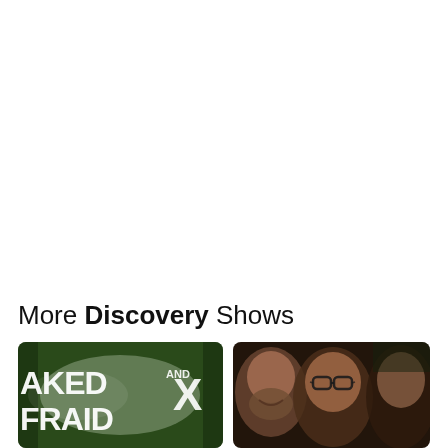More Discovery Shows
[Figure (photo): Naked and Afraid X show logo on green forest background]
[Figure (photo): Three people's faces in dark lighting - a bearded man smiling, a man with glasses, and a third man looking up]